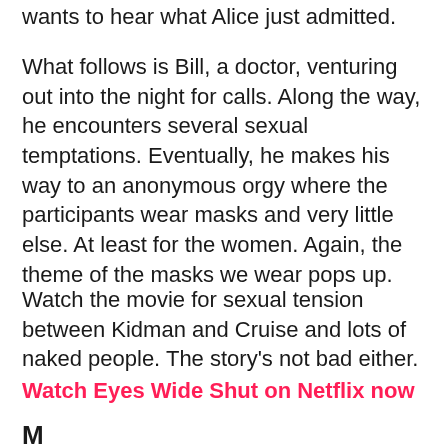wants to hear what Alice just admitted.
What follows is Bill, a doctor, venturing out into the night for calls. Along the way, he encounters several sexual temptations. Eventually, he makes his way to an anonymous orgy where the participants wear masks and very little else. At least for the women. Again, the theme of the masks we wear pops up.
Watch the movie for sexual tension between Kidman and Cruise and lots of naked people. The story's not bad either.
Watch Eyes Wide Shut on Netflix now
M